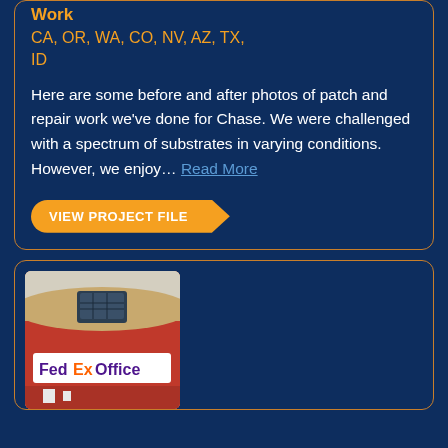Work
CA, OR, WA, CO, NV, AZ, TX,
ID
Here are some before and after photos of patch and repair work we've done for Chase. We were challenged with a spectrum of substrates in varying conditions. However, we enjoy… Read More
VIEW PROJECT FILE
[Figure (photo): FedEx Office store front building with red exterior and signage]